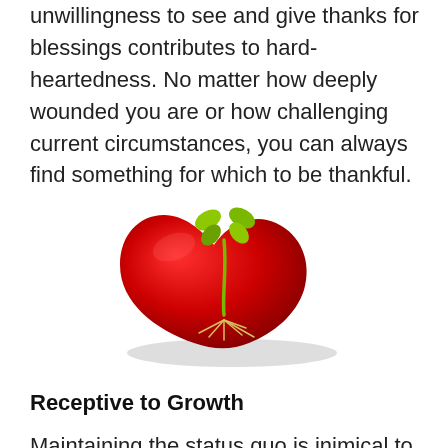unwillingness to see and give thanks for blessings contributes to hard-heartedness. No matter how deeply wounded you are or how challenging current circumstances, you can always find something for which to be thankful.
[Figure (illustration): A red heart shape lying flat with a small green seedling/sprout growing from its center, with white roots visible, symbolizing growth from the heart.]
Receptive to Growth
Maintaining the status quo is inimical to the...